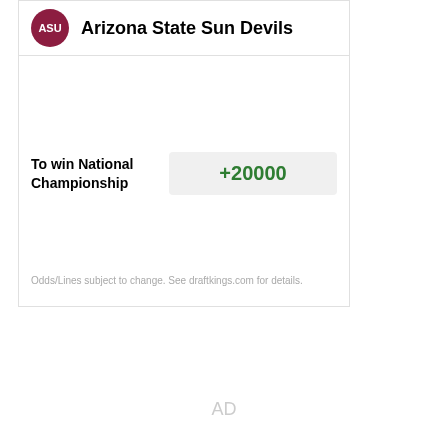Arizona State Sun Devils
To win National Championship
+20000
Odds/Lines subject to change. See draftkings.com for details.
AD